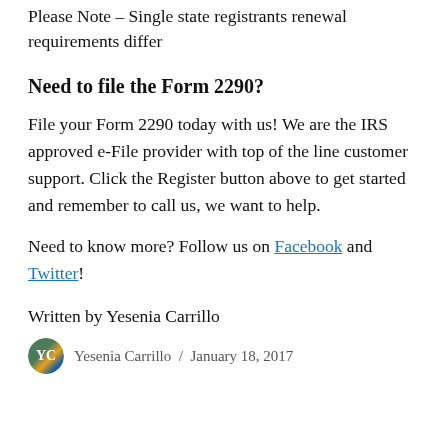Please Note – Single state registrants renewal requirements differ
Need to file the Form 2290?
File your Form 2290 today with us! We are the IRS approved e-File provider with top of the line customer support. Click the Register button above to get started and remember to call us, we want to help.
Need to know more? Follow us on Facebook and Twitter!
Written by Yesenia Carrillo
Yesenia Carrillo / January 18, 2017